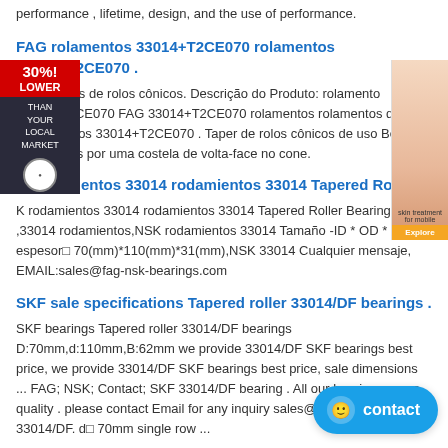performance , lifetime, design, and the use of performance.
FAG rolamentos 33014+T2CE070 rolamentos 33014+T2CE070 .
Rolamentos de rolos cônicos. Descrição do Produto: rolamento 33014+T2CE070 FAG 33014+T2CE070 rolamentos rolamentos de rolos cônicos 33014+T2CE070 . Taper de rolos cônicos de uso Bearing rolos dados por uma costela de volta-face no cone.
K rodamientos 33014 rodamientos 33014 Tapered Roller .
K rodamientos 33014 rodamientos 33014 Tapered Roller Bearings ,33014 rodamientos,NSK rodamientos 33014 Tamaño -ID * OD * espesor□ 70(mm)*110(mm)*31(mm),NSK 33014 Cualquier mensaje, EMAIL:sales@fag-nsk-bearings.com
SKF sale specifications Tapered roller 33014/DF bearings .
SKF bearings Tapered roller 33014/DF bearings D:70mm,d:110mm,B:62mm we provide 33014/DF SKF bearings best price, we provide 33014/DF SKF bearings best price, sale dimensions ... FAG; NSK; Contact; SKF 33014/DF bearing . All our bearing ensure quality . please contact Email for any inquiry sales@tanchin.hk SKF 33014/DF. d□ 70mm single row ...
TIMKEN 33014/33014 Bearing - acfla.o
FAG 33014 bearing energy efficient in Turkey. FAG 33014 bearing energy
[Figure (infographic): Advertisement overlay showing 30% LOWER THAN YOUR LOCAL MARKET in red and dark boxes with a badge]
[Figure (photo): Right side advertisement image showing skin treatment product with Explore button]
[Figure (infographic): Blue contact button with smiley face icon in bottom right corner]